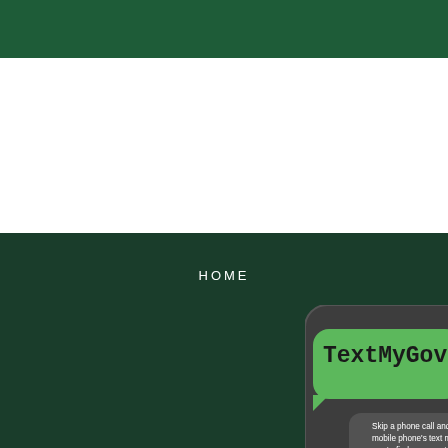HOME
[Figure (infographic): TextMyGov promotional graphic showing a smartphone mockup with a green speech bubble containing 'TextMyGov' logo text, a dark grey reply bubble with text 'Skip a phone call and use your mobile phone's text messaging to find answers to your questions. Text "Hi" to the Town of Pacolet at (864) 383-8323', and a green 'More Info' button at the bottom.]